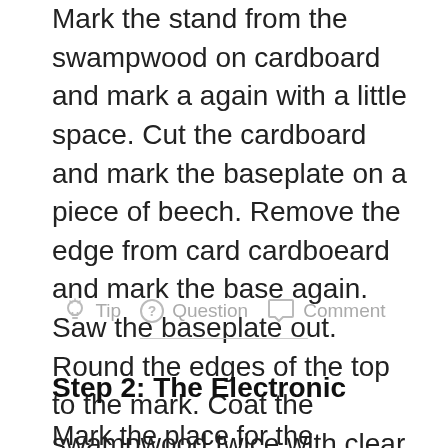Mark the stand from the swampwood on cardboard and mark a again with a little space. Cut the cardboard and mark the baseplate on a piece of beech. Remove the edge from card cardboeard and mark the base again. Saw the baseplate out. Round the edges of the top to the mark. Coat the swampwood twice with clear epoxy resin. Cover the base with tape and mark the stand. Mark where you want to have the lightning. Drill 4mm holes for the LED.
[Figure (infographic): Icon bar with three options: Tip (lightbulb icon), Question (question mark circle icon), Comment (speech bubble icon)]
Step 2: The Electronic
Mark the place for the electronics and drill space with